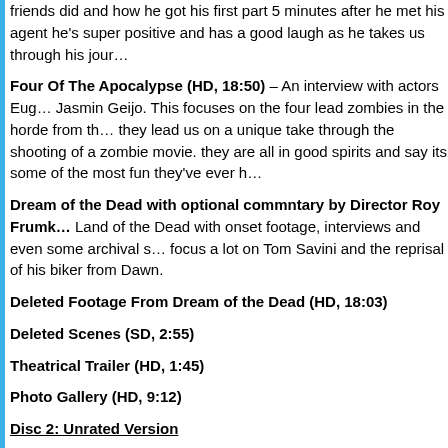friends did and how he got his first part 5 minutes after he met his agent he's super positive and has a good laugh as he takes us through his jour…
Four Of The Apocalypse (HD, 18:50) – An interview with actors Eug… Jasmin Geijo. This focuses on the four lead zombies in the horde from th… they lead us on a unique take through the shooting of a zombie movie. they are all in good spirits and say its some of the most fun they've ever h…
Dream of the Dead with optional commntary by Director Roy Frumk… Land of the Dead with onset footage, interviews and even some archival s… focus a lot on Tom Savini and the reprisal of his biker from Dawn.
Deleted Footage From Dream of the Dead (HD, 18:03)
Deleted Scenes (SD, 2:55)
Theatrical Trailer (HD, 1:45)
Photo Gallery (HD, 9:12)
Disc 2: Unrated Version
There is a nice lite tribute montage of set footage from this movie to Geor…
Audio Commentary
With Zombie Performers Matt Blazi, Glena Chao, Michael Felb…